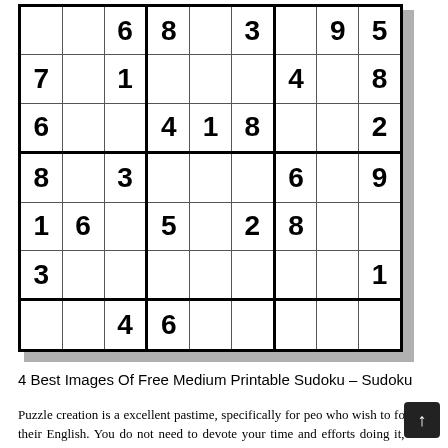[Figure (other): Sudoku puzzle grid (9x9) with some numbers filled in. Row 1: _,_,6,8,_,3,_,9,5. Row 2: 7,_,1,_,_,_,4,_,8. Row 3: 6,_,_,4,1,8,_,_,2. Row 4: 8,_,3,_,_,_,6,_,9. Row 5: 1,6,_,5,_,2,8,_,_. Row 6: 3,_,_,_,_,_,_,_,1. Row 7: _,_,4,6,_,_,_,_,_.]
4 Best Images Of Free Medium Printable Sudoku – Sudoku
Puzzle creation is a excellent pastime, specifically for peo who wish to follow their English. You do not need to devote your time and efforts doing it, and also you do not need to invest any